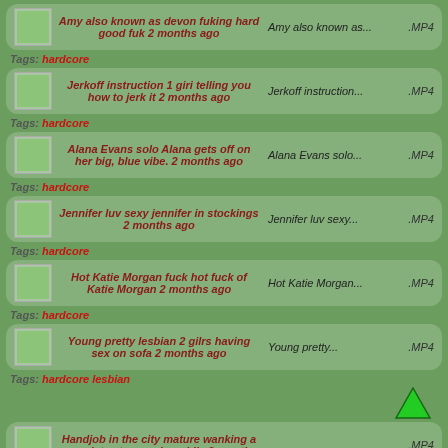Amy also known as devon fuking hard good fuk 2 months ago | Amy also known as... | .MP4 | Tags: hardcore
Jerkoff instruction 1 giri telling you how to jerk it 2 months ago | Jerkoff instruction... | .MP4 | Tags: hardcore
Alana Evans solo Alana gets off on her big, blue vibe. 2 months ago | Alana Evans solo... | .MP4 | Tags: hardcore
Jennifer luv sexy jennifer in stockings 2 months ago | Jennifer luv sexy... | .MP4 | Tags: hardcore
Hot Katie Morgan fuck hot fuck of Katie Morgan 2 months ago | Hot Katie Morgan... | .MP4 | Tags: hardcore
Young pretty lesbian 2 gilrs having sex on sofa 2 months ago | Young pretty... | .MP4 | Tags: hardcore lesbian
Handjob in the city mature wanking a complete stranger in public 2 months | .MP4